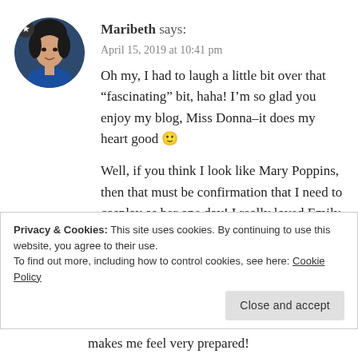[Figure (photo): Circular profile photo of a woman with dark hair wearing a blue top, with a star badge overlay in the top-left of the circle.]
Maribeth says:
April 15, 2019 at 10:41 pm
Oh my, I had to laugh a little bit over that “fascinating” bit, haha! I’m so glad you enjoy my blog, Miss Donna–it does my heart good 🙂

Well, if you think I look like Mary Poppins, then that must be confirmation that I need to cosplay as her one day! I really loved Emily Blunt in the role. And hey, if I give off a Mary Poppins vibe,
Privacy & Cookies: This site uses cookies. By continuing to use this website, you agree to their use.
To find out more, including how to control cookies, see here: Cookie Policy
Close and accept
makes me feel very prepared!